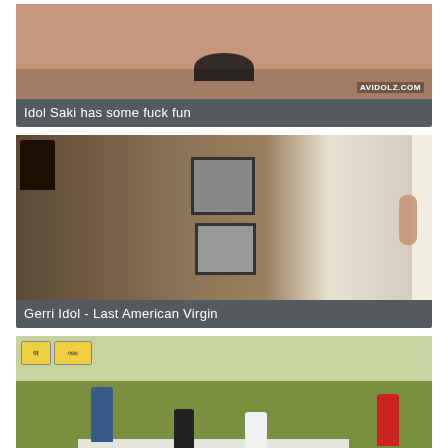[Figure (photo): Thumbnail image for video - Idol Saki]
Idol Saki has some fuck fun
[Figure (photo): Thumbnail image for video - Gerri Idol Last American Virgin, indoor room scene with framed pictures on wall]
Gerri Idol - Last American Virgin
[Figure (photo): Thumbnail image for video - outdoor game show scene with multiple people]